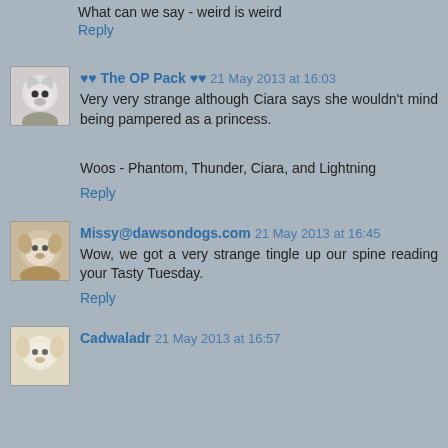What can we say - weird is weird
Reply
♥♥ The OP Pack ♥♥  21 May 2013 at 16:03
Very very strange although Ciara says she wouldn't mind being pampered as a princess.
Woos - Phantom, Thunder, Ciara, and Lightning
Reply
Missy@dawsondogs.com  21 May 2013 at 16:45
Wow, we got a very strange tingle up our spine reading your Tasty Tuesday.
Reply
Cadwaladr  21 May 2013 at 16:57